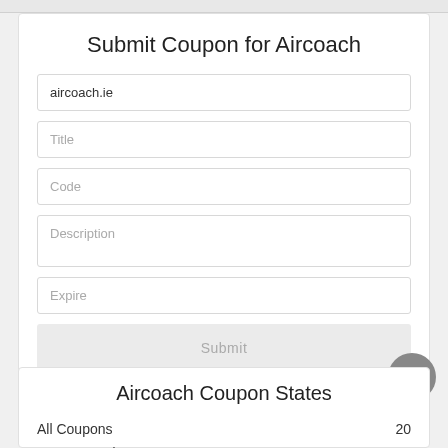Submit Coupon for Aircoach
aircoach.ie
Title
Code
Description
Expire
Submit
Aircoach Coupon States
All Coupons    20
Coupon Codes    2